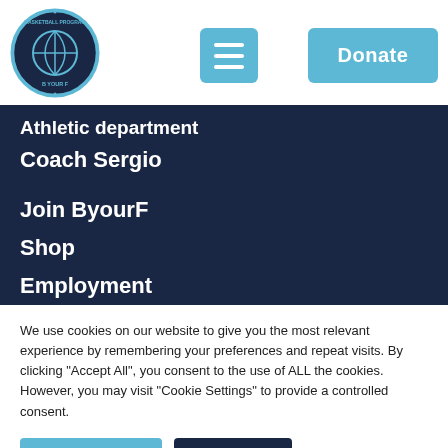[Figure (logo): Basketball program circular logo with basketball and banner reading B YOUR F]
Athletic department
Coach Sergio
Join ByourF
Shop
Employment
We use cookies on our website to give you the most relevant experience by remembering your preferences and repeat visits. By clicking "Accept All", you consent to the use of ALL the cookies. However, you may visit "Cookie Settings" to provide a controlled consent.